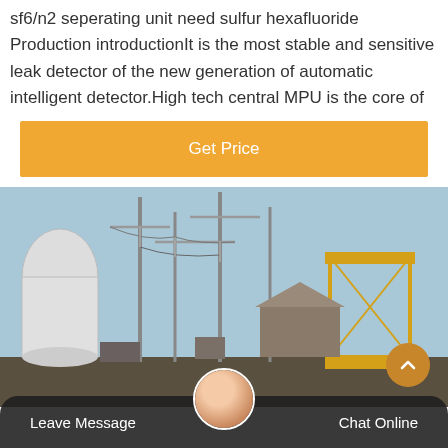sf6/n2 seperating unit need sulfur hexafluoride Production introductionIt is the most stable and sensitive leak detector of the new generation of automatic intelligent detector.High tech central MPU is the core of
[Figure (other): Orange 'Get Price' button]
[Figure (photo): Photograph of an electrical substation with tall pylons, transformers, and industrial equipment under a blue sky. A yellow crane or structure is visible on the right side.]
Leave Message   Chat Online